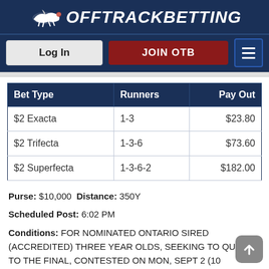[Figure (logo): OffTrackBetting logo with horse silhouette and stylized text on dark navy background]
[Figure (screenshot): Navigation bar with Log In button, JOIN OTB button in dark red, and hamburger menu icon]
| Bet Type | Runners | Pay Out |
| --- | --- | --- |
| $2 Exacta | 1-3 | $23.80 |
| $2 Trifecta | 1-3-6 | $73.60 |
| $2 Superfecta | 1-3-6-2 | $182.00 |
Purse: $10,000 Distance: 350Y
Scheduled Post: 6:02 PM
Conditions: FOR NOMINATED ONTARIO SIRED (ACCREDITED) THREE YEAR OLDS, SEEKING TO QUALIFY TO THE FINAL, CONTESTED ON MON, SEPT 2 (10 FASTEST QUALIFIERS). For Nomination Sustaining Payment details, please refer to the QROOI